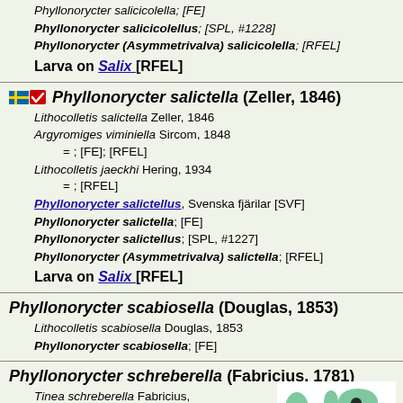Phyllonorycter salicicolella; [FE]
Phyllonorycter salicicolellus; [SPL, #1228]
Phyllonorycter (Asymmetrivalva) salicicolella; [RFEL]
Larva on Salix [RFEL]
Phyllonorycter salictella (Zeller, 1846)
Lithocolletis salictella Zeller, 1846
Argyromiges viminiella Sircom, 1848
= ; [FE]; [RFEL]
Lithocolletis jaeckhi Hering, 1934
= ; [RFEL]
Phyllonorycter salictellus, Svenska fjärilar [SVF]
Phyllonorycter salictella; [FE]
Phyllonorycter salictellus; [SPL, #1227]
Phyllonorycter (Asymmetrivalva) salictella; [RFEL]
Larva on Salix [RFEL]
Phyllonorycter scabiosella (Douglas, 1853)
Lithocolletis scabiosella Douglas, 1853
Phyllonorycter scabiosella; [FE]
Phyllonorycter schreberella (Fabricius, 1781)
Tinea schreberella Fabricius, 1781
Phyllonorycter schreberella; [FE]
[Figure (map): World distribution map showing range of Phyllonorycter schreberella, with a black dot marker indicating presence in eastern Europe/western Asia region]